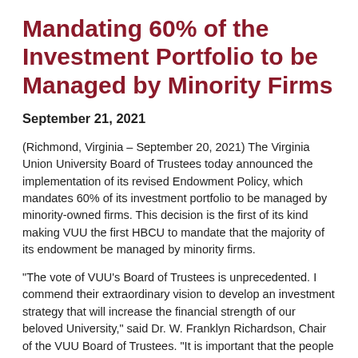Mandating 60% of the Investment Portfolio to be Managed by Minority Firms
September 21, 2021
(Richmond, Virginia – September 20, 2021) The Virginia Union University Board of Trustees today announced the implementation of its revised Endowment Policy, which mandates 60% of its investment portfolio to be managed by minority-owned firms. This decision is the first of its kind making VUU the first HBCU to mandate that the majority of its endowment be managed by minority firms.
“The vote of VUU’s Board of Trustees is unprecedented. I commend their extraordinary vision to develop an investment strategy that will increase the financial strength of our beloved University,” said Dr. W. Franklyn Richardson, Chair of the VUU Board of Trustees. "It is important that the people who use their hard-earned resources to educate themselves and their families also